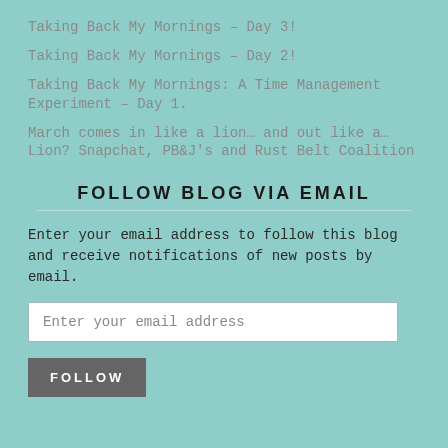Taking Back My Mornings  – Day 3!
Taking Back My Mornings – Day 2!
Taking Back My Mornings: A Time Management Experiment – Day 1.
March comes in like a lion… and out like a… Lion? Snapchat, PB&J's and Rust Belt Coalition
FOLLOW BLOG VIA EMAIL
Enter your email address to follow this blog and receive notifications of new posts by email.
Enter your email address
FOLLOW